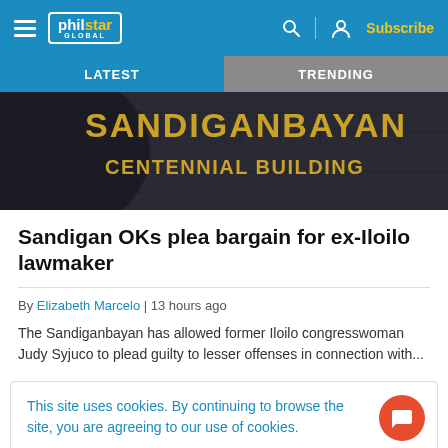philstar GLOBAL — Subscribe
LATEST | TRENDING
[Figure (photo): Photo of Sandiganbayan Centennial Building exterior with golden lettering on wall]
Sandigan OKs plea bargain for ex-Iloilo lawmaker
By Elizabeth Marcelo | 13 hours ago
The Sandiganbayan has allowed former Iloilo congresswoman Judy Syjuco to plead guilty to lesser offenses in connection with...
This site uses cookies. By continuing to browse the site, you are agreeing to our use of cookies.